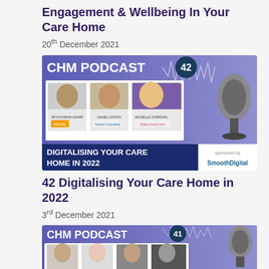Engagement & Wellbeing In Your Care Home
20th December 2021
[Figure (illustration): CHM Podcast 42 banner showing three speakers (Dr Hooshan Safari, Daniel Catson, Michelle Corrigan) with text 'Digitalising Your Care Home In 2022', sponsored by SmoothDigital]
42 Digitalising Your Care Home in 2022
3rd December 2021
[Figure (illustration): CHM Podcast 41 banner showing four speakers, partially visible at bottom of page]